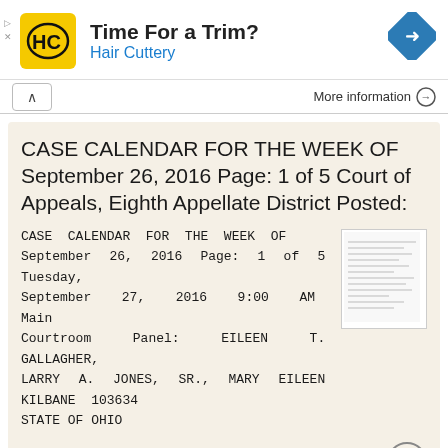[Figure (logo): Hair Cuttery advertisement banner with HC logo, 'Time For a Trim?' headline, 'Hair Cuttery' subtitle in blue, and a blue navigation direction icon on the right.]
More information →
CASE CALENDAR FOR THE WEEK OF September 26, 2016 Page: 1 of 5 Court of Appeals, Eighth Appellate District Posted:
CASE CALENDAR FOR THE WEEK OF September 26, 2016 Page: 1 of 5 Tuesday, September 27, 2016 9:00 AM Main Courtroom Panel: EILEEN T. GALLAGHER, LARRY A. JONES, SR., MARY EILEEN KILBANE 103634 STATE OF OHIO
More information →